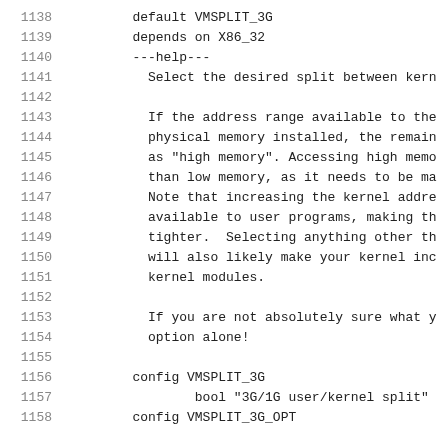1138    default VMSPLIT_3G
1139    depends on X86_32
1140    ---help---
1141        Select the desired split between kern
1142
1143        If the address range available to the
1144        physical memory installed, the remain
1145        as "high memory". Accessing high memo
1146        than low memory, as it needs to be ma
1147        Note that increasing the kernel addre
1148        available to user programs, making th
1149        tighter.  Selecting anything other th
1150        will also likely make your kernel inc
1151        kernel modules.
1152
1153        If you are not absolutely sure what y
1154        option alone!
1155
1156    config VMSPLIT_3G
1157            bool "3G/1G user/kernel split"
1158    config VMSPLIT_3G_OPT